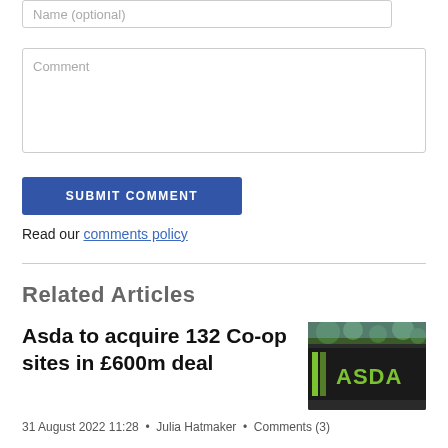Name (optional)
Comment
SUBMIT COMMENT
Read our comments policy
Related Articles
Asda to acquire 132 Co-op sites in £600m deal
31 August 2022 11:28 • Julia Hatmaker • Comments (3)
[Figure (photo): Asda store sign with green ASDA branding on dark background with trees visible]